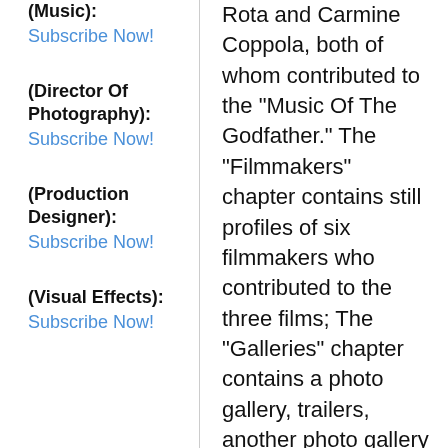(Music): Subscribe Now!
(Director Of Photography): Subscribe Now!
(Production Designer): Subscribe Now!
(Visual Effects): Subscribe Now!
Rota and Carmine Coppola, both of whom contributed to the "Music Of The Godfather." The "Filmmakers" chapter contains still profiles of six filmmakers who contributed to the three films; The "Galleries" chapter contains a photo gallery, trailers, another photo gallery of "Rogues," and an "Acclaim & Response" gallery containing a listing of all the awards garnered by "The Godfather" franchise, along with a TV spot; a Corleone Family Tree; and 34 deleted scenes.In